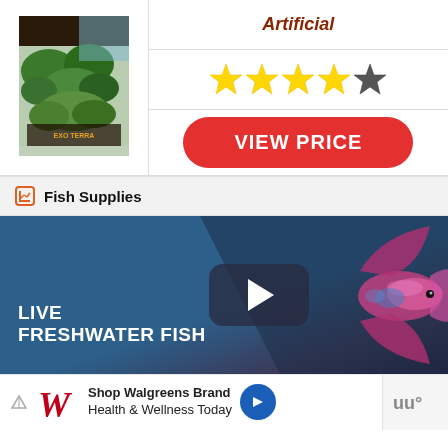[Figure (photo): Product image of aquarium plant decoration (Exo Terra brand), showing green moss/plant items]
Artificial
[Figure (other): 4 out of 5 star rating display]
VIEW PRICE
Fish Supplies
[Figure (screenshot): Video banner showing Live Freshwater Fish with play button, colorful betta fish on right side]
[Figure (screenshot): Advertisement banner: Shop Walgreens Brand Health & Wellness Today]